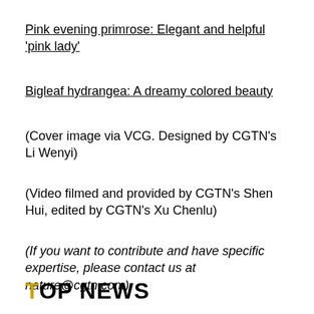Pink evening primrose: Elegant and helpful 'pink lady'
Bigleaf hydrangea: A dreamy colored beauty
(Cover image via VCG. Designed by CGTN's Li Wenyi)
(Video filmed and provided by CGTN's Shen Hui, edited by CGTN's Xu Chenlu)
(If you want to contribute and have specific expertise, please contact us at nature@cgtn.com)
TOP NEWS